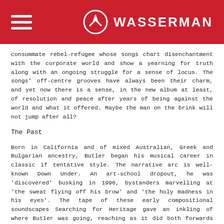WASSERMAN
consummate rebel-refugee whose songs chart disenchantment with the corporate world and show a yearning for truth along with an ongoing struggle for a sense of locus. The songs' off-centre grooves have always been their charm, and yet now there is a sense, in the new album at least, of resolution and peace after years of being against the world and what it offered. Maybe the man on the brink will not jump after all?
The Past
Born in California and of mixed Australian, Greek and Bulgarian ancestry, Butler began his musical career in classic if tentative style. The narrative arc is well-known Down Under. An art-school dropout, he was 'discovered' busking in 1996, bystanders marvelling at 'the sweat flying off his brow' and 'the holy madness in his eyes'. The tape of these early compositional soundscapes Searching for Heritage gave an inkling of where Butler was going, reaching as it did both forwards and backwards in time, conversant with all genres and yet somehow defining its own. The sound had, and still has, elements of folk, funk, reggae and rock